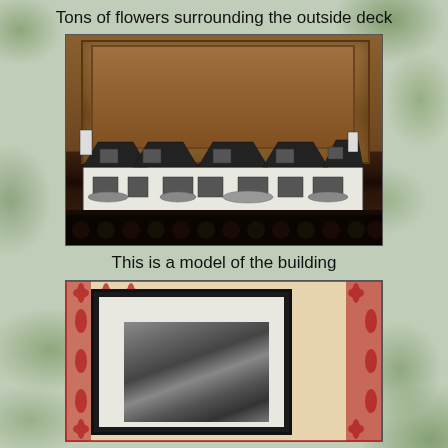Tons of flowers surrounding the outside deck
[Figure (photo): A model of a Tudor-style building/house sitting on a dark wooden shelf against a wood-paneled background]
This is a model of the building
[Figure (photo): A framed photograph (black and white image) hanging on a wall with red and cream damask patterned wallpaper]